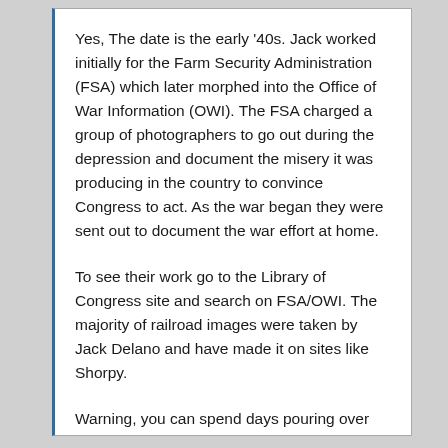Yes, The date is the early '40s. Jack worked initially for the Farm Security Administration (FSA) which later morphed into the Office of War Information (OWI). The FSA charged a group of photographers to go out during the depression and document the misery it was producing in the country to convince Congress to act. As the war began they were sent out to document the war effort at home.
To see their work go to the Library of Congress site and search on FSA/OWI. The majority of railroad images were taken by Jack Delano and have made it on sites like Shorpy.
Warning, you can spend days pouring over the photographs at the Library of Congress.
Pete